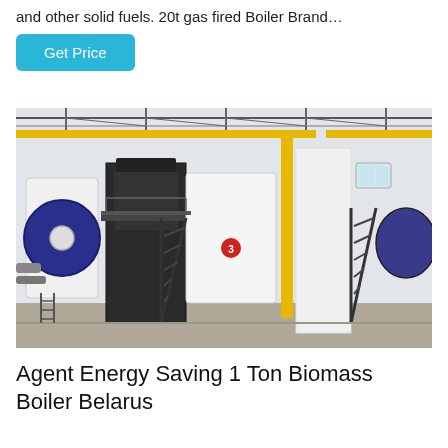and other solid fuels. 20t gas fired Boiler Brand…
Get Price
[Figure (photo): Industrial boiler room with large blue gas-fired or oil-fired boilers, metal staircases, yellow gas pipes, and industrial equipment inside a factory building.]
Agent Energy Saving 1 Ton Biomass Boiler Belarus